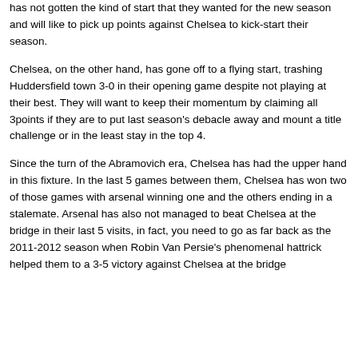has not gotten the kind of start that they wanted for the new season and will like to pick up points against Chelsea to kick-start their season.
Chelsea, on the other hand, has gone off to a flying start, trashing Huddersfield town 3-0 in their opening game despite not playing at their best. They will want to keep their momentum by claiming all 3points if they are to put last season's debacle away and mount a title challenge or in the least stay in the top 4.
Since the turn of the Abramovich era, Chelsea has had the upper hand in this fixture. In the last 5 games between them, Chelsea has won two of those games with arsenal winning one and the others ending in a stalemate. Arsenal has also not managed to beat Chelsea at the bridge in their last 5 visits, in fact, you need to go as far back as the 2011-2012 season when Robin Van Persie's phenomenal hattrick helped them to a 3-5 victory against Chelsea at the bridge